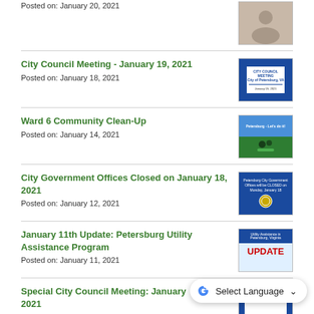Posted on: January 20, 2021
City Council Meeting - January 19, 2021
Posted on: January 18, 2021
Ward 6 Community Clean-Up
Posted on: January 14, 2021
City Government Offices Closed on January 18, 2021
Posted on: January 12, 2021
January 11th Update: Petersburg Utility Assistance Program
Posted on: January 11, 2021
Special City Council Meeting: January 2021
Posted on: January 10, 2021